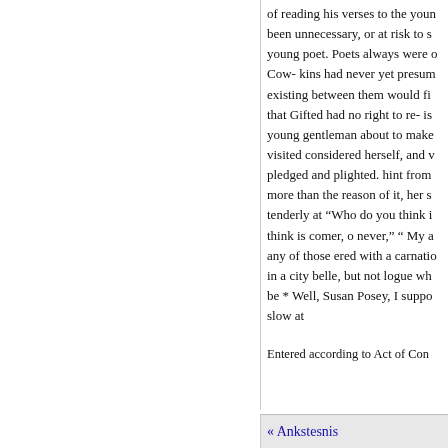of reading his verses to the youn been unnecessary, or at risk to s young poet. Poets always were o Cow- kins had never yet presum existing between them would fi that Gifted had no right to re- is young gentleman about to make visited considered herself, and v pledged and plighted. hint from more than the reason of it, her s tenderly at "Who do you think i think is comer, o never," " My a any of those ered with a carnatio in a city belle, but not logue wh be * Well, Susan Posey, I suppo slow at
Entered according to Act of Con of the District Court of the Distr
I
« Ankstesnis